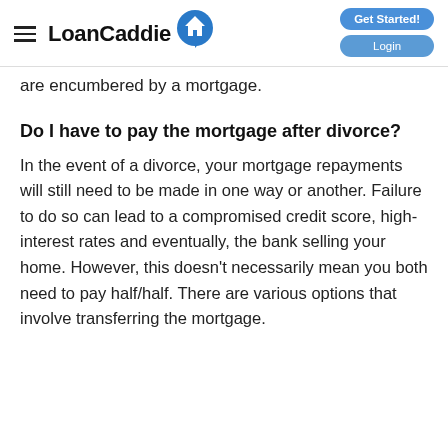LoanCaddie | Get Started! | Login
are encumbered by a mortgage.
Do I have to pay the mortgage after divorce?
In the event of a divorce, your mortgage repayments will still need to be made in one way or another. Failure to do so can lead to a compromised credit score, high-interest rates and eventually, the bank selling your home. However, this doesn’t necessarily mean you both need to pay half/half. There are various options that involve transferring the mortgage.